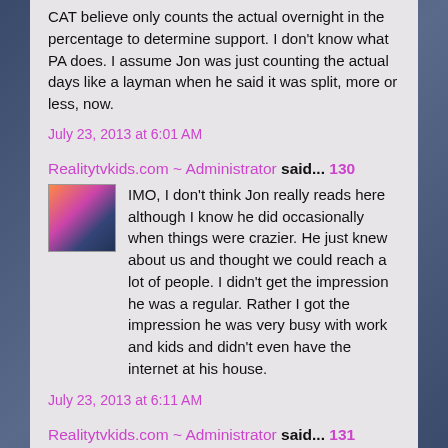CAT believe only counts the actual overnight in the percentage to determine support. I don't know what PA does. I assume Jon was just counting the actual days like a layman when he said it was split, more or less, now.
July 23, 2013 at 6:01 AM
Realitytvkids.com ~ Administrator said... 130
IMO, I don't think Jon really reads here although I know he did occasionally when things were crazier. He just knew about us and thought we could reach a lot of people. I didn't get the impression he was a regular. Rather I got the impression he was very busy with work and kids and didn't even have the internet at his house.
July 23, 2013 at 6:11 AM
Realitytvkids.com ~ Administrator said... 131
Congrats to TWOP for ten years, wow!
That site will forever have a place in Gosselin history to name one of the first places that like a sinker...